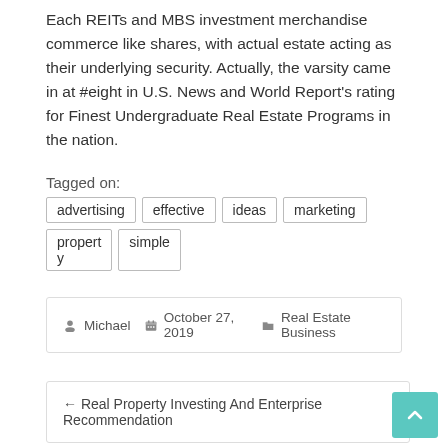Each REITs and MBS investment merchandise commerce like shares, with actual estate acting as their underlying security. Actually, the varsity came in at #eight in U.S. News and World Report's rating for Finest Undergraduate Real Estate Programs in the nation.
Tagged on:
advertising
effective
ideas
marketing
property
simple
Michael   October 27, 2019   Real Estate Business
← Real Property Investing And Enterprise Recommendation
Real Estate Degree And Profession Information →